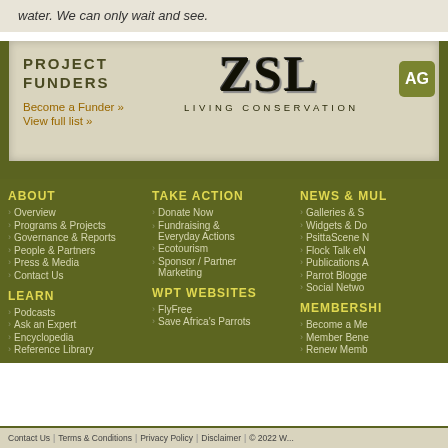water. We can only wait and see.
[Figure (logo): ZSL Living Conservation logo with stylized ZSL letters and tagline]
PROJECT FUNDERS
Become a Funder »
View full list »
ABOUT
Overview
Programs & Projects
Governance & Reports
People & Partners
Press & Media
Contact Us
LEARN
Podcasts
Ask an Expert
Encyclopedia
Reference Library
TAKE ACTION
Donate Now
Fundraising & Everyday Actions
Ecotourism
Sponsor / Partner Marketing
WPT WEBSITES
FlyFree
Save Africa's Parrots
NEWS & MUL...
Galleries & S...
Widgets & Do...
PsittaScene N...
Flock Talk eN...
Publications A...
Parrot Blogge...
Social Netwo...
MEMBERSHI...
Become a Me...
Member Bene...
Renew Memb...
Contact Us | Terms & Conditions | Privacy Policy | Disclaimer | © 2022 W...